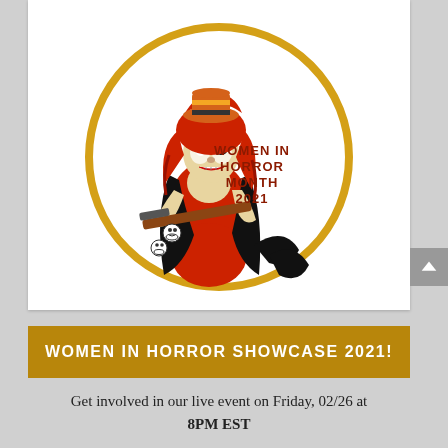[Figure (illustration): Women in Horror Month 2021 circular logo. A stylized zombie woman with red hair, wearing a small orange hat with stripes, a red dress, holding a shotgun/rifle, with skulls and a black bat. The circle has a gold/yellow border. Text inside reads 'WOMEN IN HORROR MONTH 2021' in dark red.]
WOMEN IN HORROR SHOWCASE 2021!
Get involved in our live event on Friday, 02/26 at 8PM EST